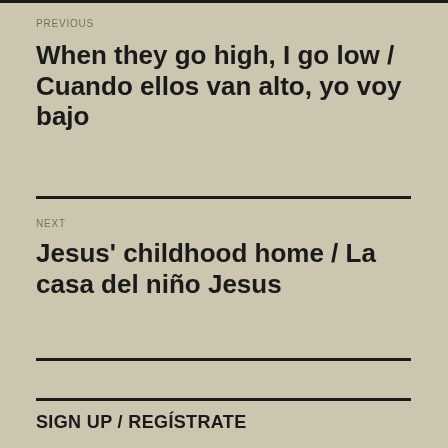PREVIOUS
When they go high, I go low / Cuando ellos van alto, yo voy bajo
NEXT
Jesus' childhood home / La casa del niño Jesus
SIGN UP / REGÍSTRATE